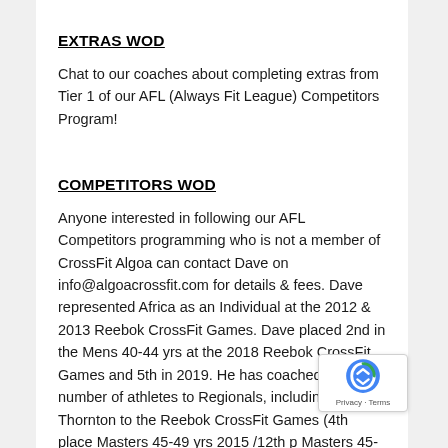EXTRAS WOD
Chat to our coaches about completing extras from Tier 1 of our AFL (Always Fit League) Competitors Program!
COMPETITORS WOD
Anyone interested in following our AFL Competitors programming who is not a member of CrossFit Algoa can contact Dave on info@algoacrossfit.com for details & fees. Dave represented Africa as an Individual at the 2012 & 2013 Reebok CrossFit Games. Dave placed 2nd in the Mens 40-44 yrs at the 2018 Reebok CrossFit Games and 5th in 2019. He has coached a number of athletes to Regionals, including Eva Thornton to the Reebok CrossFit Games (4th place Masters 45-49 yrs 2015 /12th p Masters 45-49 yrs 2017 / 1st Place “Fittest Wome on Earth” for 50-54 yrs 2018). See the following li for our 3 Tiers of Competitors Training –